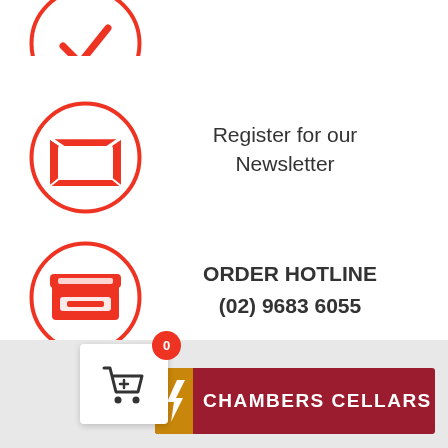[Figure (illustration): Partially visible red circle icon at the top of the page (cropped)]
[Figure (illustration): Red open envelope icon inside a red circle, representing newsletter registration]
Register for our Newsletter
[Figure (illustration): Red inbox/tray icon inside a red circle, representing order hotline]
ORDER HOTLINE
(02) 9683 6055
[Figure (illustration): Shopping cart widget with badge showing 0, and Chambers Cellars logo bar at the bottom]